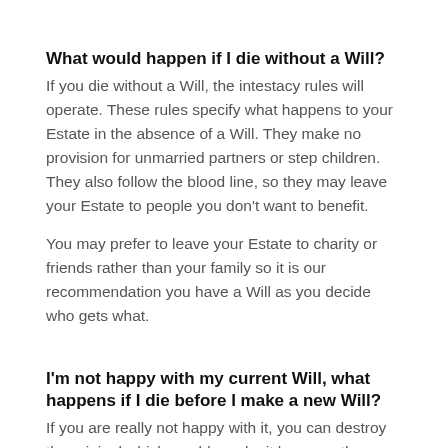What would happen if I die without a Will?
If you die without a Will, the intestacy rules will operate. These rules specify what happens to your Estate in the absence of a Will. They make no provision for unmarried partners or step children. They also follow the blood line, so they may leave your Estate to people you don't want to benefit.
You may prefer to leave your Estate to charity or friends rather than your family so it is our recommendation you have a Will as you decide who gets what.
I'm not happy with my current Will, what happens if I die before I make a new Will?
If you are really not happy with it, you can destroy the original which would revoke it however the intestacy